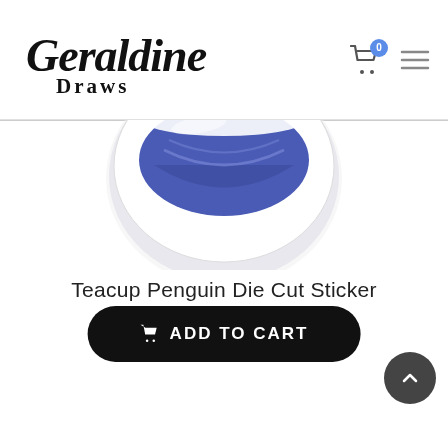[Figure (logo): Geraldine Draws handwritten logo in black]
[Figure (photo): Teacup Penguin Die Cut Sticker product image — a round sticker showing a penguin in a blue teacup with white rim]
Teacup Penguin Die Cut Sticker
$2.95
ADD TO CART